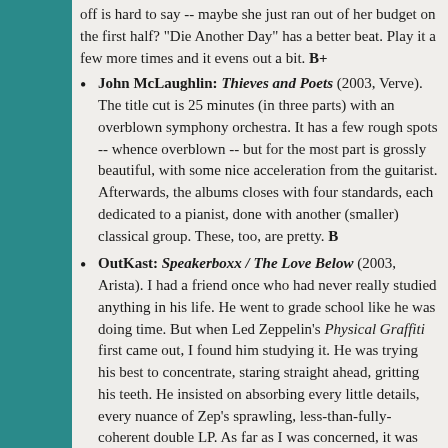off is hard to say -- maybe she just ran out of her budget on the first half? "Die Another Day" has a better beat. Play it a few more times and it evens out a bit. B+
John McLaughlin: Thieves and Poets (2003, Verve). The title cut is 25 minutes (in three parts) with an overblown symphony orchestra. It has a few rough spots -- whence overblown -- but for the most part is grossly beautiful, with some nice acceleration from the guitarist. Afterwards, the albums closes with four standards, each dedicated to a pianist, done with another (smaller) classical group. These, too, are pretty. B
OutKast: Speakerboxx / The Love Below (2003, Arista). I had a friend once who had never really studied anything in his life. He went to grade school like he was doing time. But when Led Zeppelin's Physical Graffiti first came out, I found him studying it. He was trying his best to concentrate, staring straight ahead, gritting his teeth. He insisted on absorbing every little details, every nuance of Zep's sprawling, less-than-fully-coherent double LP. As far as I was concerned, it was